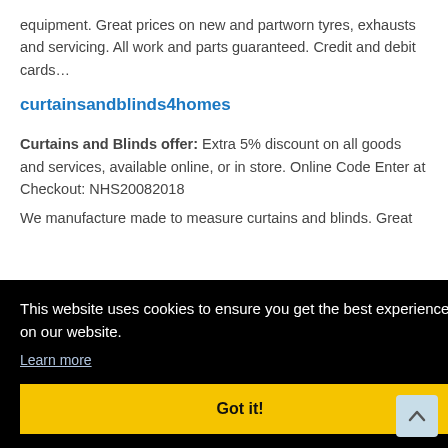equipment. Great prices on new and partworn tyres, exhausts and servicing. All work and parts guaranteed. Credit and debit cards…
curtainsandblinds4homes
Curtains and Blinds offer: Extra 5% discount on all goods and services, available online, or in store. Online Code Enter at Checkout: NHS20082018
We manufacture made to measure curtains and blinds. Great [partially obscured]
[Figure (screenshot): Cookie consent banner overlay with black background. Text: 'This website uses cookies to ensure you get the best experience on our website.' with a 'Learn more' link and a yellow 'Got it!' button.]
offer: 10% Discount off all orders with NHSTEN